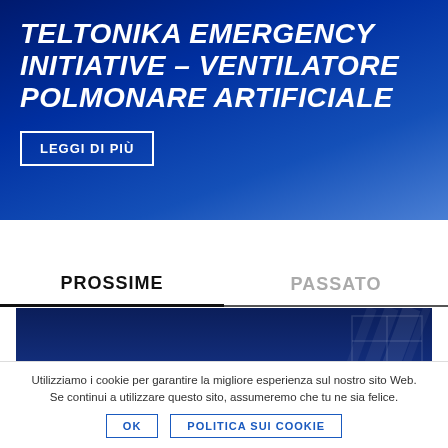TELTONIKA EMERGENCY INITIATIVE - VENTILATORE POLMONARE ARTIFICIALE
LEGGI DI PIÙ
PROSSIME
PASSATO
[Figure (photo): Dark blue event card background with decorative vertical lines, partially showing event date text]
SEPTEMBER 07, 2020 // 09:00
Utilizziamo i cookie per garantire la migliore esperienza sul nostro sito Web. Se continui a utilizzare questo sito, assumeremo che tu ne sia felice.
OK
POLITICA SUI COOKIE